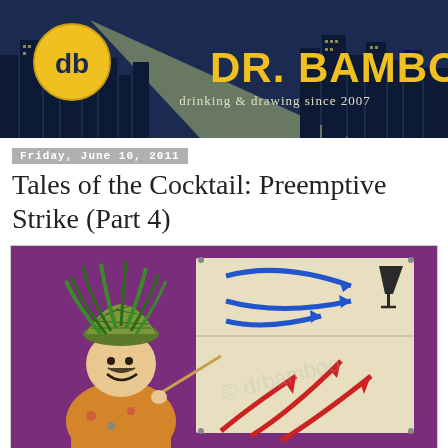[Figure (illustration): Dr. Bamboo blog header banner: dark blue cityscape silhouette at night with a spotlight beam, circular 'db' logo on left, large yellow text 'Dr. Bamboo' and smaller text 'drinking & drawing since 2007']
Friday, June 10, 2011
Tales of the Cocktail: Preemptive Strike (Part 4)
[Figure (illustration): Cartoon illustration on purple background: a smiling man with a pineapple/plant hat pointing at a tactical map board showing blue and red arrows pointing toward a cocktail glass icon]